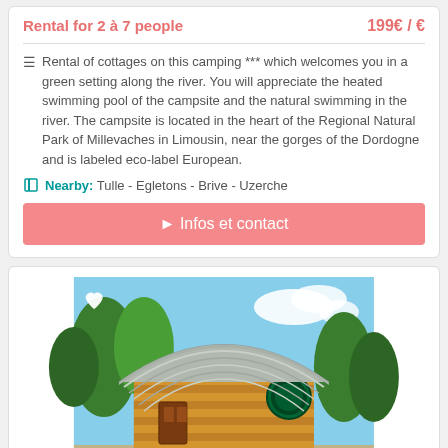Rental for 2 à 7 people   199€ / €
Rental of cottages on this camping *** which welcomes you in a green setting along the river. You will appreciate the heated swimming pool of the campsite and the natural swimming in the river. The campsite is located in the heart of the Regional Natural Park of Millevaches in Limousin, near the gorges of the Dordogne and is labeled eco-label European.
Nearby: Tulle - Egletons - Brive - Uzerche
► Infos et contact
[Figure (photo): Wooden cabin with arched corrugated metal roof and round green window, set among green trees under a blue sky. Caption reads: Au Jardin d'Ariane]